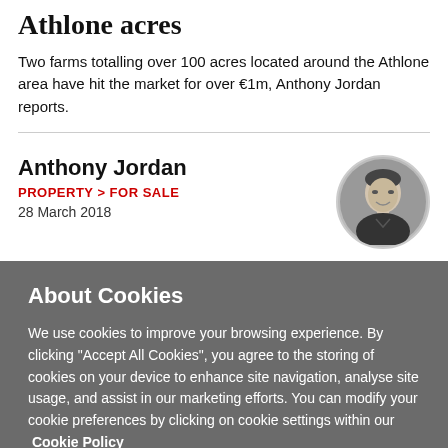Athlone acres
Two farms totalling over 100 acres located around the Athlone area have hit the market for over €1m, Anthony Jordan reports.
Anthony Jordan
PROPERTY > FOR SALE
28 March 2018
[Figure (photo): Circular headshot of Anthony Jordan, a smiling man in a dark shirt, black and white photo]
About Cookies
We use cookies to improve your browsing experience. By clicking "Accept All Cookies", you agree to the storing of cookies on your device to enhance site navigation, analyse site usage, and assist in our marketing efforts. You can modify your cookie preferences by clicking on cookie settings within our  Cookie Policy
Cookie Settings
Accept All Cookies